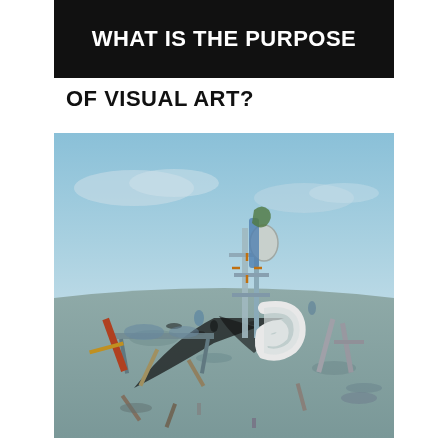WHAT IS THE PURPOSE OF VISUAL ART?
[Figure (illustration): Surrealist painting with strange mechanical and organic objects scattered across a dreamlike blue landscape. A tall assemblage of metallic and biomorphic forms casts a dark shadow. Various instruments, tools, and abstract shapes are arranged across a flat ground with a blue sky and clouds in the background. Style reminiscent of surrealist art (Max Ernst or Yves Tanguy).]